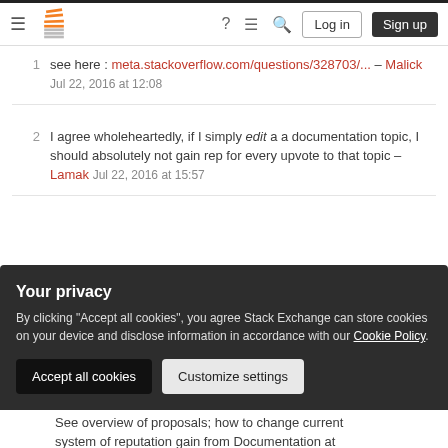Stack Overflow navigation bar with Log in and Sign up buttons
1 see here : meta.stackoverflow.com/questions/328703/... – Malick Jul 22, 2016 at 12:08
2 I agree wholeheartedly, if I simply edit a a documentation topic, I should absolutely not gain rep for every upvote to that topic – Lamak Jul 22, 2016 at 15:57
50 Yeah, the reward structure is nonsense. I've gotten more rep from this single Documentation edit than for any but the top 2% of my answers. I don't want this rep. It devalues my answering work in my own mind. – jscs Jul 22, 2016 at 16:20
Your privacy
By clicking "Accept all cookies", you agree Stack Exchange can store cookies on your device and disclose information in accordance with our Cookie Policy.
[Accept all cookies] [Customize settings]
See overview of proposals; how to change current system of reputation gain from Documentation at